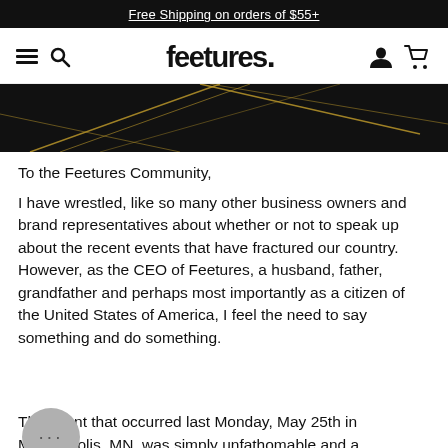Free Shipping on orders of $55+
[Figure (screenshot): Feetures website navigation bar with hamburger menu, search icon, Feetures logo, user icon, and cart icon]
[Figure (photo): Dark hero image with gold geometric lines on black background]
To the Feetures Community,
I have wrestled, like so many other business owners and brand representatives about whether or not to speak up about the recent events that have fractured our country. However, as the CEO of Feetures, a husband, father, grandfather and perhaps most importantly as a citizen of the United States of America, I feel the need to say something and do something.
The event that occurred last Monday, May 25th in Minneapolis, MN, was simply unfathomable and a